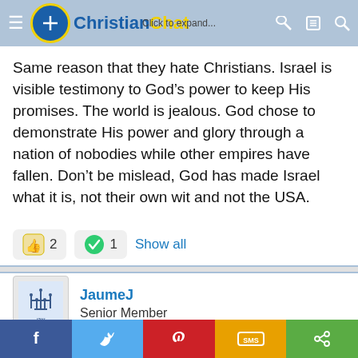[Figure (screenshot): Christian Chat website navigation bar with logo, hamburger menu, and icons]
Same reason that they hate Christians. Israel is visible testimony to God’s power to keep His promises. The world is jealous. God chose to demonstrate His power and glory through a nation of nobodies while other empires have fallen. Don’t be mislead, God has made Israel what it is, not their own wit and not the USA.
[Figure (infographic): Reaction buttons: thumbs up (2) and green checkmark (1), Show all link]
[Figure (infographic): User profile: JaumeJ, Senior Member with menorah avatar icon]
May 14, 2021               #4
[Figure (infographic): Social share bar with Facebook, Twitter, Pinterest, SMS, and share icons]